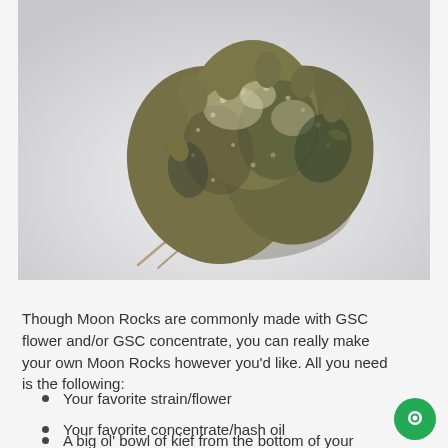[Figure (photo): Close-up macro photograph of a cannabis flower bud (marijuana/moon rock) on a white background, showing dense green-brown buds with trichomes and small stems.]
Though Moon Rocks are commonly made with GSC flower and/or GSC concentrate, you can really make your own Moon Rocks however you'd like. All you need is the following:
Your favorite strain/flower
Your favorite concentrate/hash oil
A big ol' bowl of kief from the bottom of your